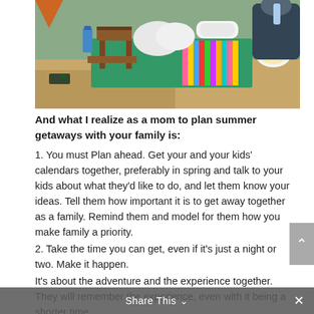[Figure (photo): Outdoor camping scene showing a picnic table setup with plates, bags, rolled towels, a spray bottle, and a person in dark clothing on the right side, with sandy/dirt ground visible]
And what I realize as a mom to plan summer getaways with your family is:
1. You must Plan ahead. Get your and your kids' calendars together, preferably in spring and talk to your kids about what they'd like to do, and let them know your ideas. Tell them how important it is to get away together as a family. Remind them and model for them how you make family a priority.
2. Take the time you can get, even if it's just a night or two. Make it happen.
It's about the adventure and the experience together. They will remember the experience, even with it being a shorter time.
Share This ∨   ×